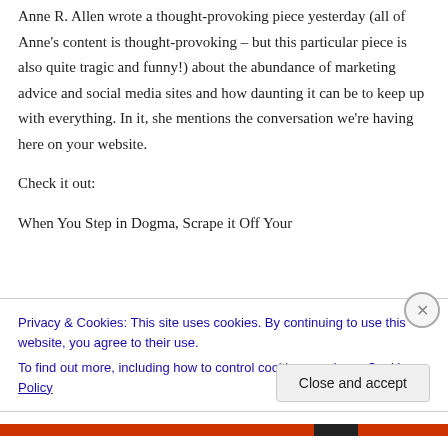Anne R. Allen wrote a thought-provoking piece yesterday (all of Anne's content is thought-provoking – but this particular piece is also quite tragic and funny!) about the abundance of marketing advice and social media sites and how daunting it can be to keep up with everything. In it, she mentions the conversation we're having here on your website.

Check it out:

When You Step in Dogma, Scrape it Off Your
Privacy & Cookies: This site uses cookies. By continuing to use this website, you agree to their use.
To find out more, including how to control cookies, see here: Cookie Policy